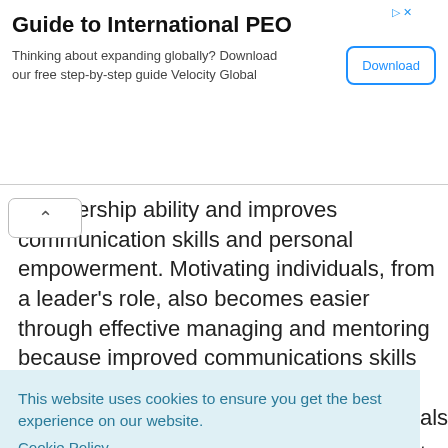[Figure (other): Advertisement banner for Guide to International PEO by Velocity Global with a Download button]
ership ability and improves communication skills and personal empowerment. Motivating individuals, from a leader's role, also becomes easier through effective managing and mentoring because improved communications skills inspires stronger contribution from
This website uses cookies to ensure you get the best experience on our website.
Cookie Policy
Got it!
als to est e wth
expectations.